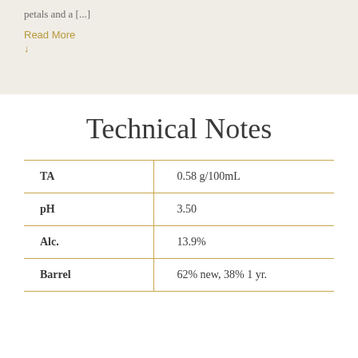petals and a [...]
Read More
↓
Technical Notes
|  |  |
| --- | --- |
| TA | 0.58 g/100mL |
| pH | 3.50 |
| Alc. | 13.9% |
| Barrel | 62% new, 38% 1 yr. |